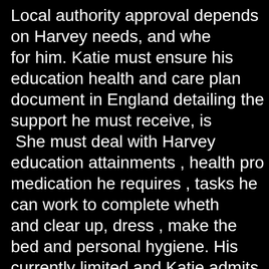Local authority approval depends on Harvey needs, and wher for him. Katie must ensure his education health and care plan document in England detailing the support he must receive, is  She must deal with Harvey education attainments , health pro medication he requires , tasks he can work to complete wheth and clear up, dress , make the bed and personal hygiene. His currently limited and Katie admits she has done everything for young people transitioning into adulthood, this is a daunting ti parents,while being overseen by local authority and can often